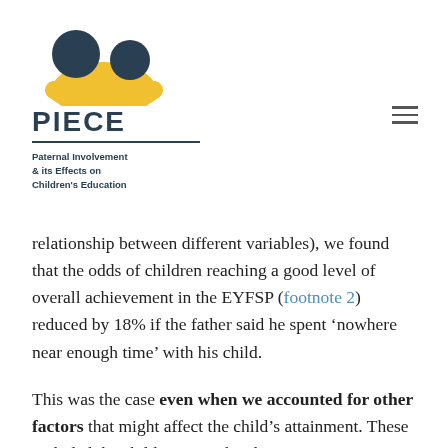[Figure (logo): PIECE logo: two circular figures (dark teal) above a yellow arc shape, text 'PIECE' in dark teal bold letters, horizontal rule, subtitle 'Paternal Involvement & its Effects on Children's Education' in bold dark teal]
relationship between different variables), we found that the odds of children reaching a good level of overall achievement in the EYFSP (footnote 2) reduced by 18% if the father said he spent ‘nowhere near enough time’ with his child.
This was the case even when we accounted for other factors that might affect the child’s attainment. These included the child’s age in the class...